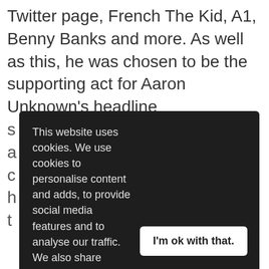Twitter page, French The Kid, A1, Benny Banks and more. As well as this, he was chosen to be the supporting act for Aaron Unknown's headline s a c ( h t
This website uses cookies. We use cookies to personalise content and adds, to provide social media features and to analyse our traffic. We also share information about your use of our site with our social media, advertising and analytics partners who may combine it with other information that you've provided to them or that they've collected from your use of their services. Learn more
I'm ok with that.